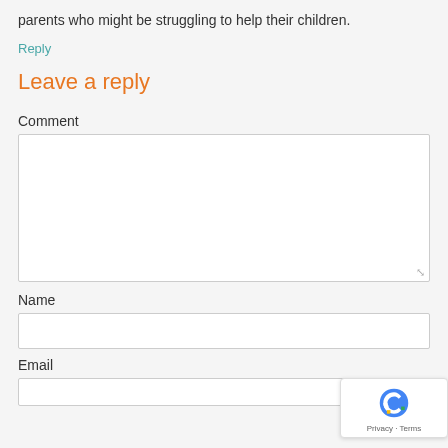parents who might be struggling to help their children.
Reply
Leave a reply
Comment
Name
Email